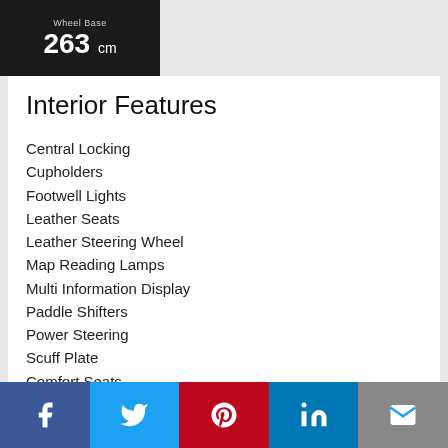[Figure (infographic): Dark black box showing 'Wheel Base' label and value '263 cm']
Interior Features
Central Locking
Cupholders
Footwell Lights
Leather Seats
Leather Steering Wheel
Map Reading Lamps
Multi Information Display
Paddle Shifters
Power Steering
Scuff Plate
Comfort Seats
Sport Pedals
[Figure (infographic): Social media sharing bar with Facebook, Twitter, Pinterest, LinkedIn, and Email icons]